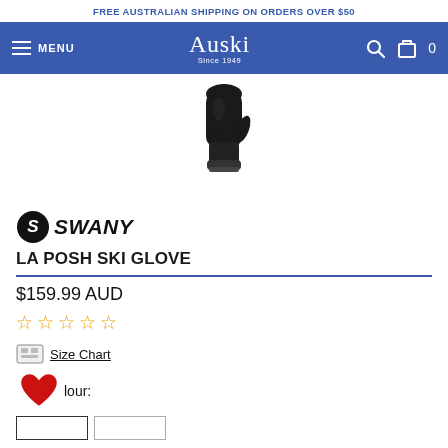FREE AUSTRALIAN SHIPPING ON ORDERS OVER $50
[Figure (screenshot): Auski website navigation bar with hamburger menu, Auski logo (Since 1949), search icon, and cart icon showing 0 items]
[Figure (photo): Black ski glove product image showing the top portion of a dark leather glove against white background]
[Figure (logo): Swany brand logo with circular S icon and bold italic SWANY text]
LA POSH SKI GLOVE
$159.99 AUD
[Figure (other): Five empty star rating icons in gold/yellow color indicating 0 out of 5 stars]
Size Chart
Colour: